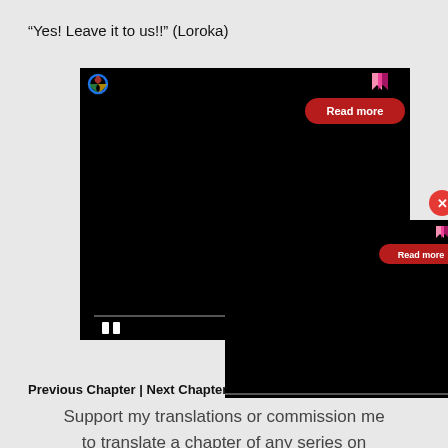“Yes! Leave it to us!!” (Loroka)
[Figure (screenshot): A black video ad with a browser icon top-left, a pink bookmark icon top-right, a red 'Read more' button, a progress bar, and a pause button. A second overlapping black ad with a bookmark icon and 'Read more' button. A red close (X) button circle on the right edge.]
Previous Chapter | Next Chapter
Support my translations or commission me to translate a chapter of any series on